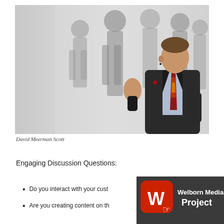[Figure (photo): A man in a dark suit with a colorful tie holding a remote control, speaking in front of projected silhouettes of people on a light background.]
David Meerman Scott
Engaging Discussion Questions:
Do you interact with your cust
Are you creating content on th
[Figure (logo): Welborn Media Project logo — red rounded square with white W and cursor icon, dark background, text 'Welborn Media Project'.]